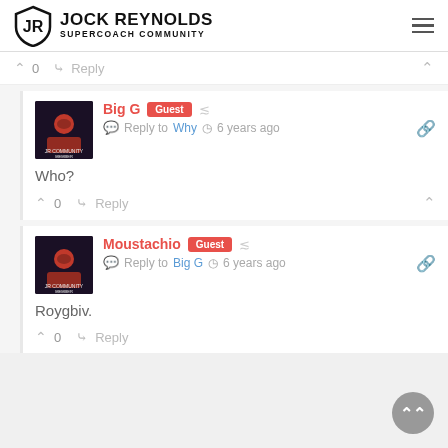Jock Reynolds Supercoach Community
0  Reply
Big G  Guest  Reply to Why  6 years ago
Who?
0  Reply
Moustachio  Guest  Reply to Big G  6 years ago
Roygbiv.
0  Reply